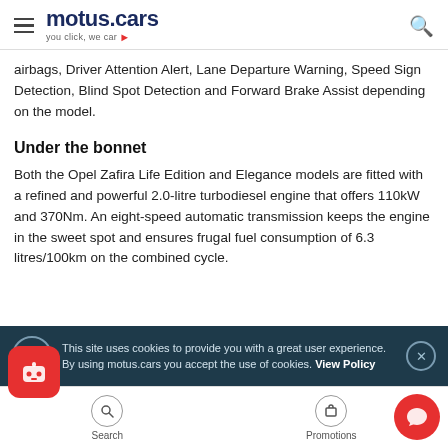motus.cars — you click, we car
airbags, Driver Attention Alert, Lane Departure Warning, Speed Sign Detection, Blind Spot Detection and Forward Brake Assist depending on the model.
Under the bonnet
Both the Opel Zafira Life Edition and Elegance models are fitted with a refined and powerful 2.0-litre turbodiesel engine that offers 110kW and 370Nm. An eight-speed automatic transmission keeps the engine in the sweet spot and ensures frugal fuel consumption of 6.3 litres/100km on the combined cycle.
This site uses cookies to provide you with a great user experience. By using motus.cars you accept the use of cookies. View Policy